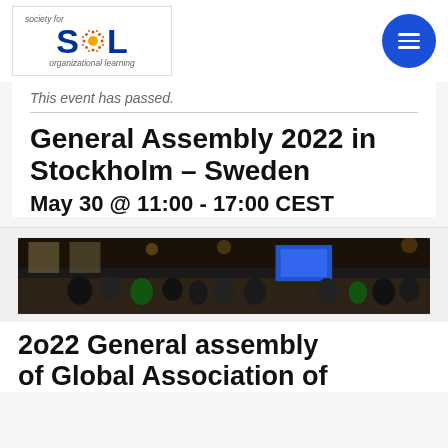[Figure (logo): SOL (Society for Organizational Learning) logo with orange dot-circle sunburst replacing the O, blue text on white background]
This event has passed.
General Assembly 2022 in Stockholm – Sweden
May 30 @ 11:00 - 17:00 CEST
[Figure (photo): Wide indoor venue photo showing a crowd of people gathered in a large hall with signs and displays, low lighting]
2o22 General assembly of Global Association of